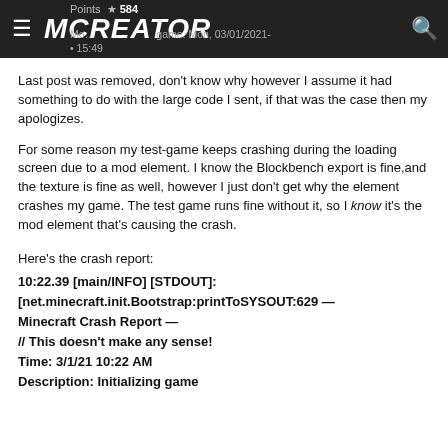MCreator | Points: 584 | Mon, 03/01/2021 - 15:49
Last post was removed, don't know why however I assume it had something to do with the large code I sent, if that was the case then my apologizes.
For some reason my test-game keeps crashing during the loading screen due to a mod element. I know the Blockbench export is fine,and the texture is fine as well, however I just don't get why the element crashes my game. The test game runs fine without it, so I know it's the mod element that's causing the crash.
Here's the crash report:
10:22.39 [main/INFO] [STDOUT]: [net.minecraft.init.Bootstrap:printToSYSOUT:629 — Minecraft Crash Report — // This doesn't make any sense! Time: 3/1/21 10:22 AM Description: Initializing game